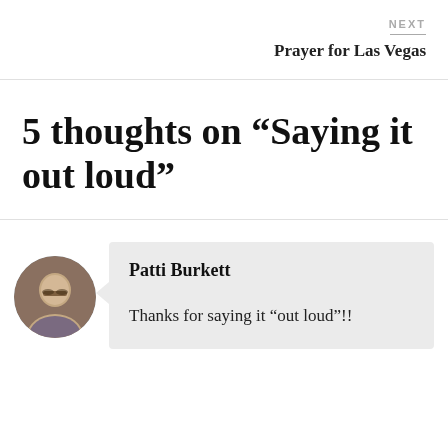NEXT
Prayer for Las Vegas
5 thoughts on “Saying it out loud”
Patti Burkett
Thanks for saying it “out loud”!!